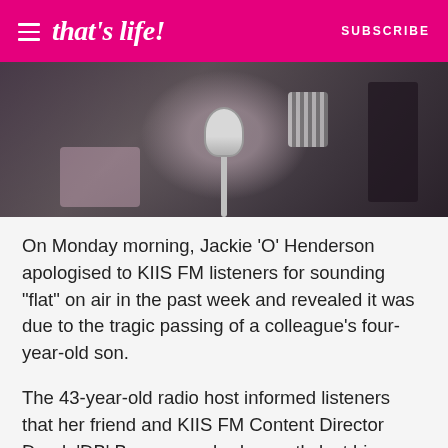that's life! | SUBSCRIBE
[Figure (photo): A person at a radio studio microphone, blurred/cropped image showing someone in a patterned outfit leaning toward a studio microphone]
On Monday morning, Jackie 'O' Henderson apologised to KIIS FM listeners for sounding "flat" on air in the past week and revealed it was due to the tragic passing of a colleague's four-year-old son.
The 43-year-old radio host informed listeners that her friend and KIIS FM Content Director Derek 'DB' Bargwanna had recently lost his son Tate who "died peacefully in his sleep".
The whole team at KIIS was deeply affected by the news